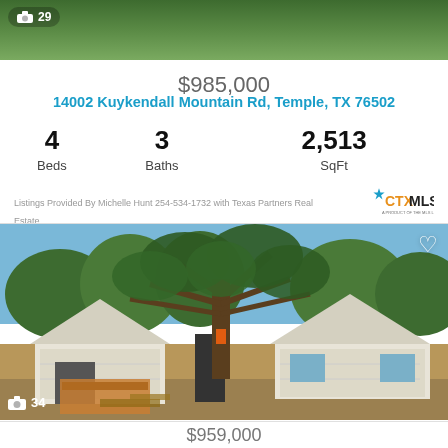[Figure (photo): Green grassy hillside photo, top portion of listing card, with camera icon showing 29 photos]
$985,000
14002 Kuykendall Mountain Rd, Temple, TX 76502
| Beds | Baths | SqFt |
| --- | --- | --- |
| 4 | 3 | 2,513 |
Listings Provided By Michelle Hunt 254-534-1732 with Texas Partners Real Estate
[Figure (photo): House under construction with exposed wood framing/OSB sheathing, large oak tree in center, construction debris in foreground, blue sky background. Camera icon showing 34 photos.]
$959,000